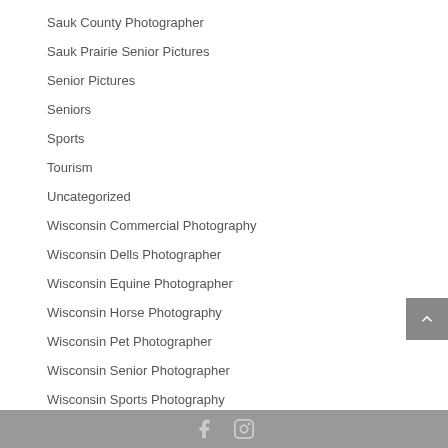Sauk County Photographer
Sauk Prairie Senior Pictures
Senior Pictures
Seniors
Sports
Tourism
Uncategorized
Wisconsin Commercial Photography
Wisconsin Dells Photographer
Wisconsin Equine Photographer
Wisconsin Horse Photography
Wisconsin Pet Photographer
Wisconsin Senior Photographer
Wisconsin Sports Photography